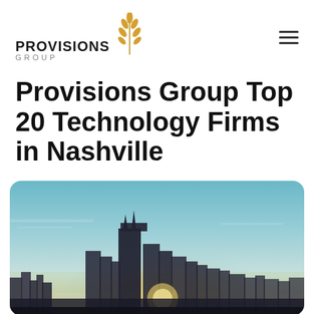PROVISIONS GROUP
Provisions Group Top 20 Technology Firms in Nashville
[Figure (photo): Nashville city skyline at sunset/dusk with the AT&T Batman building prominent in the center, warm golden light behind the buildings against a blue sky]